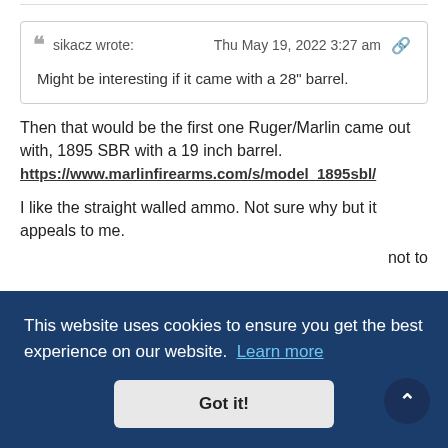sikacz wrote: Thu May 19, 2022 3:27 am
Might be interesting if it came with a 28" barrel.
Then that would be the first one Ruger/Marlin came out with, 1895 SBR with a 19 inch barrel.
https://www.marlinfirearms.com/s/model_1895sbl/
I like the straight walled ammo. Not sure why but it appeals to me.
not to
This website uses cookies to ensure you get the best experience on our website. Learn more
Got it!